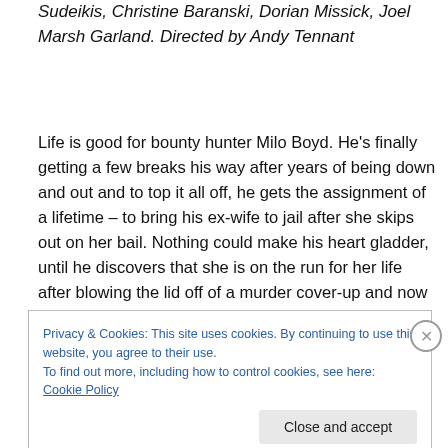Sudeikis, Christine Baranski, Dorian Missick, Joel Marsh Garland. Directed by Andy Tennant
Life is good for bounty hunter Milo Boyd. He's finally getting a few breaks his way after years of being down and out and to top it all off, he gets the assignment of a lifetime – to bring his ex-wife to jail after she skips out on her bail. Nothing could make his heart gladder, until he discovers that she is on the run for her life after blowing the lid off of a murder cover-up and now he's embroiled in her mess too. Ain't love grand?
Privacy & Cookies: This site uses cookies. By continuing to use this website, you agree to their use.
To find out more, including how to control cookies, see here: Cookie Policy
Close and accept